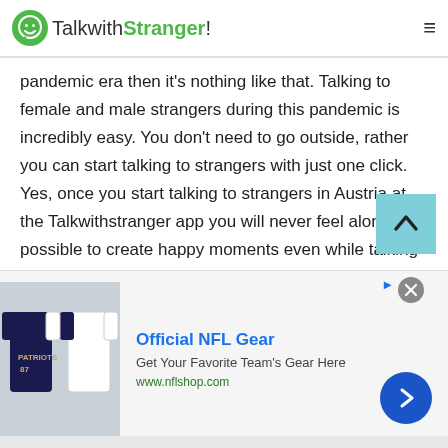TalkwithStranger!
pandemic era then it's nothing like that. Talking to female and male strangers during this pandemic is incredibly easy. You don't need to go outside, rather you can start talking to strangers with just one click. Yes, once you start talking to strangers in Austria at the Talkwithstranger app you will never feel alone. It is possible to create happy moments even while talking to strangers online. There are so many fantastic features available at TWS that keep you connected with your loved ones.

So, if you ever feel alone and get rid of boredom
[Figure (screenshot): Advertisement banner for Official NFL Gear showing NFL jerseys image, title 'Official NFL Gear', description 'Get Your Favorite Team's Gear Here', URL 'www.nflshop.com', with close button and arrow CTA button]